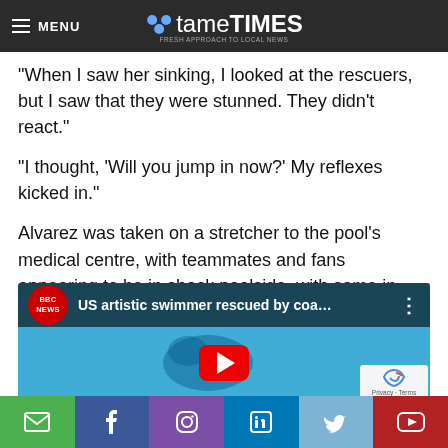MENU | tame TIMES
“When I saw her sinking, I looked at the rescuers, but I saw that they were stunned. They didn’t react.”
“I thought, ‘Will you jump in now?’ My reflexes kicked in.”
Alvarez was taken on a stretcher to the pool’s medical centre, with teammates and fans appearing to be in shock poolside, with some in tears consoling each other.
[Figure (screenshot): Embedded YouTube video thumbnail from BBC News titled 'US artistic swimmer rescued by coa...' showing underwater swimmer footage with red play button]
Email | Facebook | Instagram | LinkedIn | Twitter | YouTube